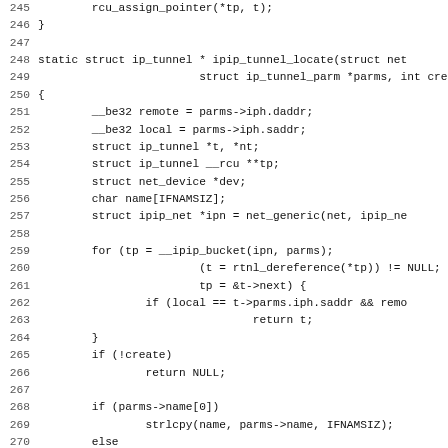[Figure (screenshot): Source code listing showing C code for ipip_tunnel_locate function, lines 245-276. Monospace font on white background with line numbers on the left.]